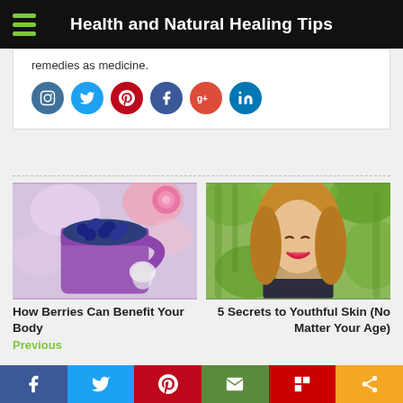Health and Natural Healing Tips
remedies as medicine.
[Figure (infographic): Row of social media icon circles: Instagram, Twitter, Pinterest, Facebook, Google+, LinkedIn]
[Figure (photo): Purple mug filled with blueberries on a table with flowers in the background]
How Berries Can Benefit Your Body
Previous
[Figure (photo): Smiling woman with long hair outdoors with green foliage background]
5 Secrets to Youthful Skin (No Matter Your Age)
Social share bar: Facebook, Twitter, Pinterest, Email, Flipboard, Share